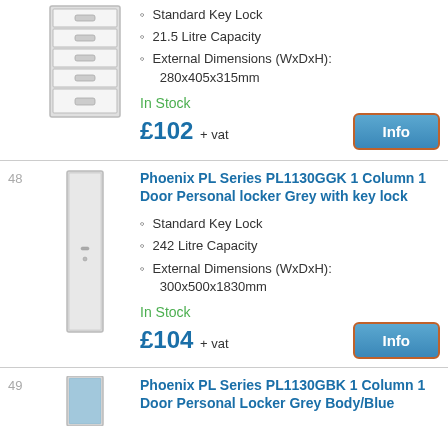[Figure (photo): Metal filing cabinet with multiple drawers, silver/grey color]
Standard Key Lock
21.5 Litre Capacity
External Dimensions (WxDxH): 280x405x315mm
In Stock
£102 + vat
Info
48
Phoenix PL Series PL1130GGK 1 Column 1 Door Personal locker Grey with key lock
[Figure (photo): Tall slim personal locker, single column, grey color]
Standard Key Lock
242 Litre Capacity
External Dimensions (WxDxH): 300x500x1830mm
In Stock
£104 + vat
Info
49
Phoenix PL Series PL1130GBK 1 Column 1 Door Personal Locker Grey Body/Blue